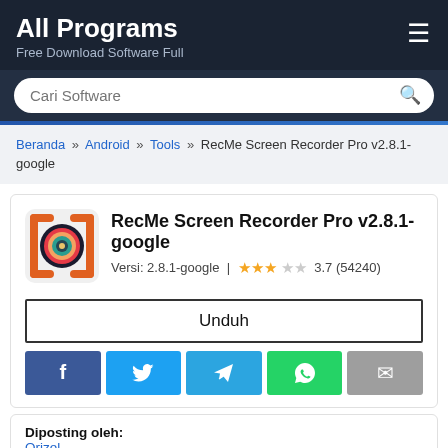All Programs
Free Download Software Full
Beranda » Android » Tools » RecMe Screen Recorder Pro v2.8.1-google
RecMe Screen Recorder Pro v2.8.1-google
Versi: 2.8.1-google | ★★★☆☆ 3.7 (54240)
Unduh
[Figure (logo): RecMe Screen Recorder app icon with colorful concentric rings on dark background, framed by an orange bracket]
Diposting oleh:
Orizel